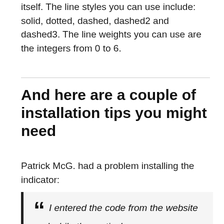itself. The line styles you can use include: solid, dotted, dashed, dashed2 and dashed3. The line weights you can use are the integers from 0 to 6.
And here are a couple of installation tips you might need
Patrick McG. had a problem installing the indicator:
“ I entered the code from the website and while the vertical